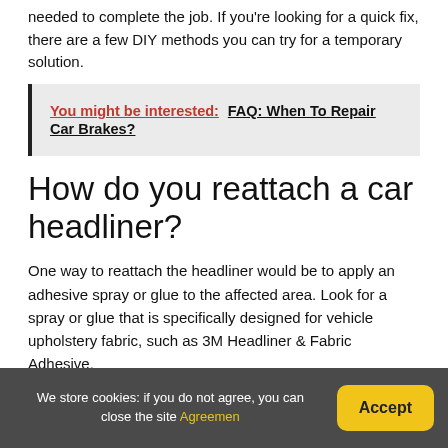needed to complete the job. If you're looking for a quick fix, there are a few DIY methods you can try for a temporary solution.
You might be interested:  FAQ: When To Repair Car Brakes?
How do you reattach a car headliner?
One way to reattach the headliner would be to apply an adhesive spray or glue to the affected area. Look for a spray or glue that is specifically designed for vehicle upholstery fabric, such as 3M Headliner & Fabric Adhesive.
We store cookies: if you do not agree, you can close the site Agreemen   Accept